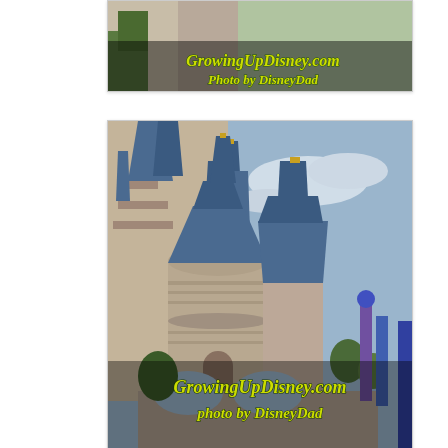[Figure (photo): Partial view of Cinderella Castle at Walt Disney World's Magic Kingdom, showing stone towers with blue spires and battlements, photographed from close range. Watermark text reads GrowingUpDisney.com / Photo by DisneyDad]
[Figure (photo): Close-up photograph of Cinderella Castle at Walt Disney World Magic Kingdom, showing the main round tower with blue cone roof, stone masonry walls, arched bridge, trees and colorful parade decorations in the background against a blue sky. Watermark text reads GrowingUpDisney.com / photo by DisneyDad]